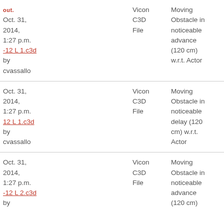| Date | File | Format | Description | Access |
| --- | --- | --- | --- | --- |
| Oct. 31, 2014, 1:27 p.m. by cvassallo | -12 L 1.c3d | Vicon C3D File | Moving Obstacle in noticeable advance (120 cm) w.r.t. Actor | PUBLIC |
| Oct. 31, 2014, 1:27 p.m. by cvassallo | 12 L 1.c3d | Vicon C3D File | Moving Obstacle in noticeable delay (120 cm) w.r.t. Actor | PUBLIC |
| Oct. 31, 2014, 1:27 p.m. by cvassallo | -12 L 2.c3d | Vicon C3D File | Moving Obstacle in noticeable advance (120 cm) | PUBLIC |